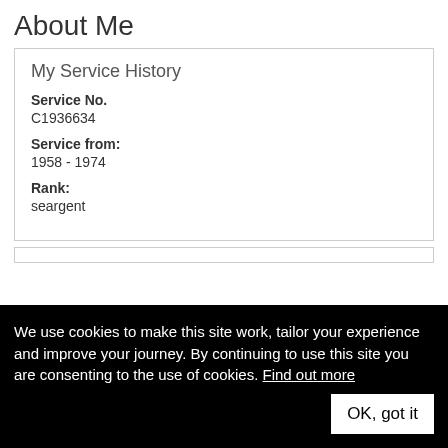About Me
My Service History
Service No.
C1936634
Service from:
1958 - 1974
Rank:
seargent
We use cookies to make this site work, tailor your experience and improve your journey. By continuing to use this site you are consenting to the use of cookies. Find out more